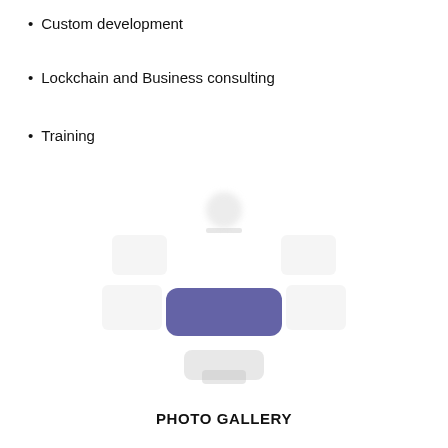Custom development
Lockchain and Business consulting
Training
[Figure (other): Blurred screenshot or UI element with a prominent purple/indigo rounded rectangle button in the center, surrounded by faded gray interface elements]
PHOTO GALLERY